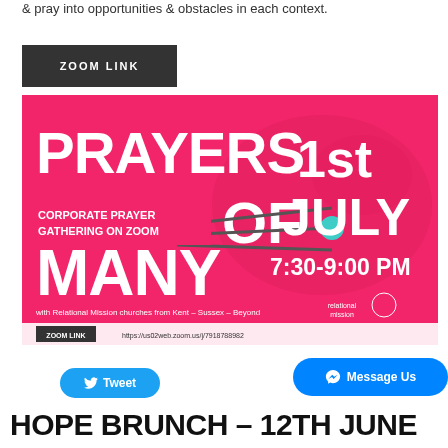& pray into opportunities & obstacles in each context.
[Figure (other): Dark button with white text ZOOM LINK]
[Figure (infographic): Pink promotional banner for 'Prayers of Many' corporate prayer gathering on Zoom, 1st July, 7:30-9:00 PM, with Relational Mission churches from Kent, Sussex & Beyond. Zoom link: https://us02web.zoom.us/j/7918788982. relational mission logo bottom right.]
[Figure (other): Blue Tweet button with Twitter bird icon]
[Figure (other): Blue Message Us button with Messenger icon]
HOPE BRUNCH – 12TH JUNE